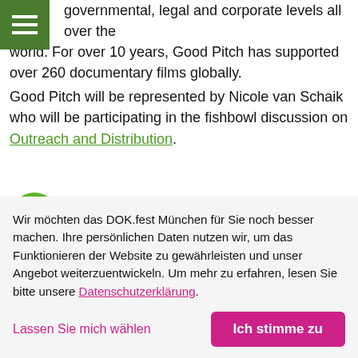governmental, legal and corporate levels all over the world. For over 10 years, Good Pitch has supported over 260 documentary films globally.
Good Pitch will be represented by Nicole van Schaik who will be participating in the fishbowl discussion on Outreach and Distribution.
[Figure (logo): Doc Society logo — green circular icon with white cutout shape and the text 'docsociety' in black bold sans-serif]
Wir möchten das DOK.fest München für Sie noch besser machen. Ihre persönlichen Daten nutzen wir, um das Funktionieren der Website zu gewährleisten und unser Angebot weiterzuentwickeln. Um mehr zu erfahren, lesen Sie bitte unsere Datenschutzerklärung.
Lassen Sie mich wählen
Ich stimme zu